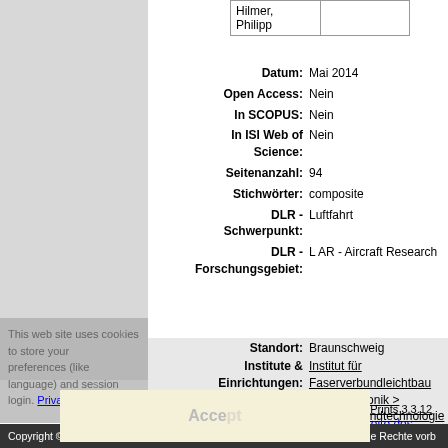|  |  |
| --- | --- |
| Hilmer, Philipp |  |
Datum: Mai 2014
Open Access: Nein
In SCOPUS: Nein
In ISI Web of Science: Nein
Seitenanzahl: 94
Stichwörter: composite
DLR - Schwerpunkt: Luftfahrt
DLR - Forschungsgebiet: L AR - Aircraft Research
Standort: Braunschweig
Institute & Einrichtungen: Institut für Faserverbundleichtbau und Adaptronik > Faserverbundtechnologie
This web site uses cookies to store your preferences (like language) and session login. Privacy Policy
Nur für Mitarbeiter des Archivs: Kontrollseite des Eintrags
Einige Felder oben sind zurzeit ausgeblendet: Alle Felder anzeigen
Accept
electronic library verwendet EPrints 3.3.12
Copyright © 2008-2017 Deutsches Zentrum für Luft- und Raumfahrt (DLR). Alle Rechte vorb